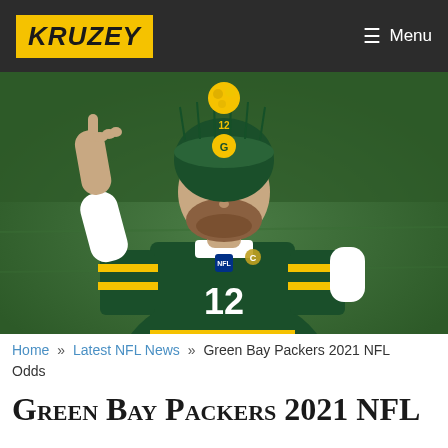KRUZEY | Menu
[Figure (photo): Green Bay Packers quarterback wearing jersey number 12 and green/gold beanie hat, raising one finger in the air, standing on a football field]
Home » Latest NFL News » Green Bay Packers 2021 NFL Odds
Green Bay Packers 2021 NFL